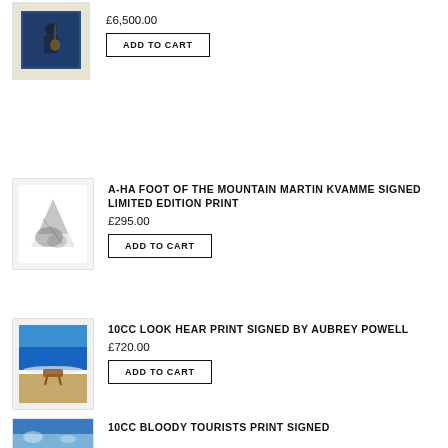[Figure (photo): Thumbnail of a framed artwork showing a figure with guitar on dark blue background]
£6,500.00
ADD TO CART
A-HA FOOT OF THE MOUNTAIN MARTIN KVAMME SIGNED LIMITED EDITION PRINT
[Figure (photo): Thumbnail of a mountain landscape print with dark abstract markings on white background]
£295.00
ADD TO CART
10CC LOOK HEAR PRINT SIGNED BY AUBREY POWELL
[Figure (photo): Thumbnail of a beach scene with blue sky and a chair on sand]
£720.00
ADD TO CART
10CC BLOODY TOURISTS PRINT SIGNED
[Figure (photo): Partial thumbnail of an image with blue tones]